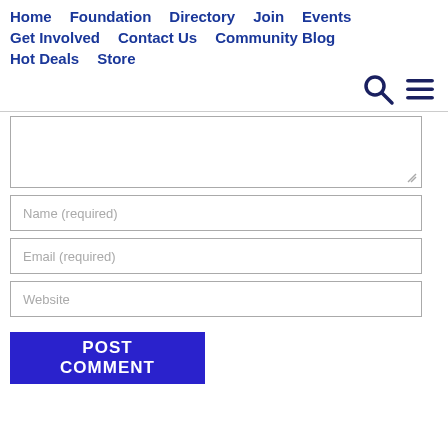Home   Foundation   Directory   Join   Events   Get Involved   Contact Us   Community Blog   Hot Deals   Store
[Figure (screenshot): Navigation icons: search (magnifying glass) and hamburger menu]
[comment textarea - empty]
Name (required)
Email (required)
Website
POST COMMENT